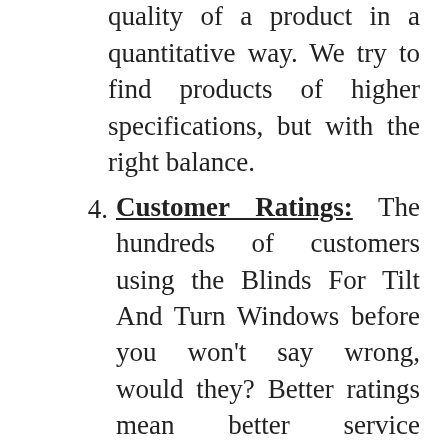always help you measure the quality of a product in a quantitative way. We try to find products of higher specifications, but with the right balance.
Customer Ratings: The hundreds of customers using the Blinds For Tilt And Turn Windows before you won't say wrong, would they? Better ratings mean better service experienced by a good number of people.
Customer Reviews: Like ratings, customer